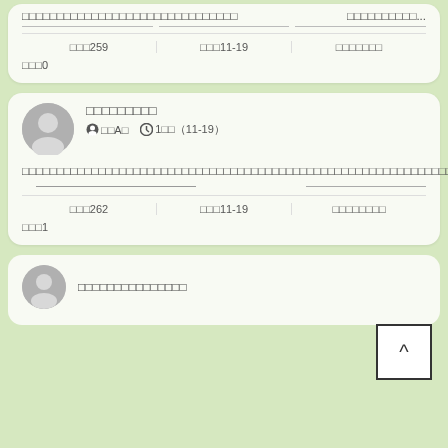Card 1 top content with title text and ellipsis, underlines, stats: 閱覽259, 發布11-19, 收藏數, 評論0
User card: 用戶名稱文字, 帳號A類, 1週前(11-19), post content text, stats: 閱覽262, 發布11-19, 收藏數, 評論1
Third card user: 用戶名稱文字文字文字